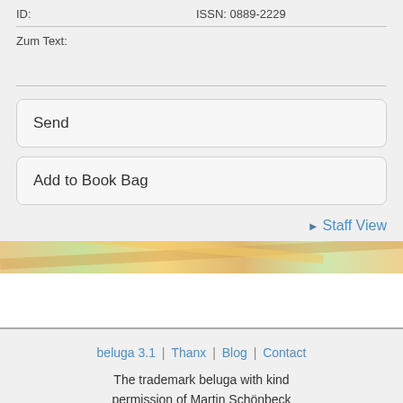ID:    ISSN: 0889-2229
Zum Text:
Send
Add to Book Bag
Staff View
[Figure (map): Colorful map strip showing road/area markings in orange, yellow, and green tones]
beluga 3.1 | Thanx | Blog | Contact
The trademark beluga with kind permission of Martin Schönbeck Beratungen GmbH, Spenge.